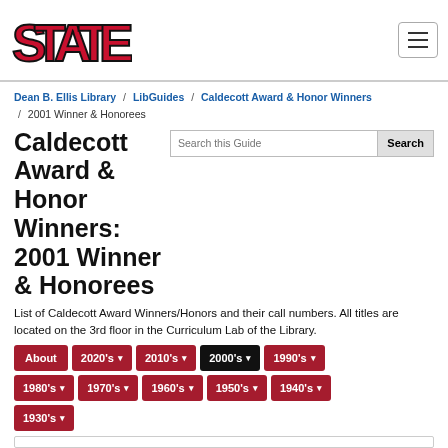[Figure (logo): Arkansas State University 'STATE' logo in red and black block letters]
Dean B. Ellis Library / LibGuides / Caldecott Award & Honor Winners / 2001 Winner & Honorees
Caldecott Award & Honor Winners: 2001 Winner & Honorees
List of Caldecott Award Winners/Honors and their call numbers. All titles are located on the 3rd floor in the Curriculum Lab of the Library.
About
2020's
2010's
2000's (active)
1990's
1980's
1970's
1960's
1950's
1940's
1930's